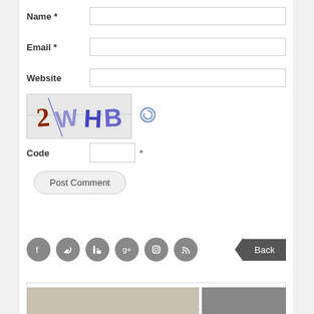Name *
Email *
Website
[Figure (other): CAPTCHA image showing characters: 2 W H B in handwritten style with refresh icon]
Code *
Post Comment
[Figure (other): Social media icons: Facebook, Twitter, LinkedIn, Google+, Instagram, RSS; and a Back button]
Search this website...